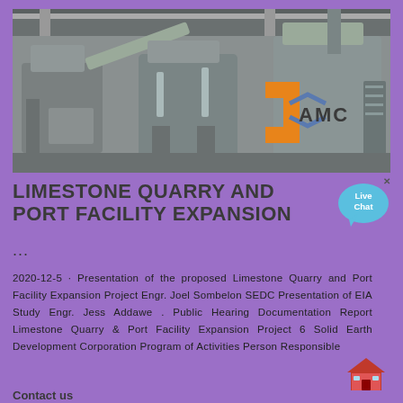[Figure (photo): Industrial limestone quarry crushing/processing machinery in a facility, with AMC logo overlay (orange and blue bracket logo with 'AMC' text)]
LIMESTONE QUARRY AND PORT FACILITY EXPANSION
...
2020-12-5 · Presentation of the proposed Limestone Quarry and Port Facility Expansion Project Engr. Joel Sombelon SEDC Presentation of EIA Study Engr. Jess Addawe . Public Hearing Documentation Report Limestone Quarry & Port Facility Expansion Project 6 Solid Earth Development Corporation Program of Activities Person Responsible
Contact us